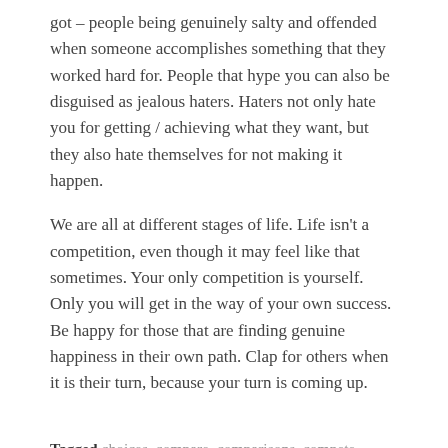got – people being genuinely salty and offended when someone accomplishes something that they worked hard for. People that hype you can also be disguised as jealous haters. Haters not only hate you for getting / achieving what they want, but they also hate themselves for not making it happen.
We are all at different stages of life. Life isn't a competition, even though it may feel like that sometimes. Your only competition is yourself. Only you will get in the way of your own success. Be happy for those that are finding genuine happiness in their own path. Clap for others when it is their turn, because your turn is coming up.
Tagged choices, compare, comparisons, compete, competition, confidence, confident, expectations, independent, journey, life,